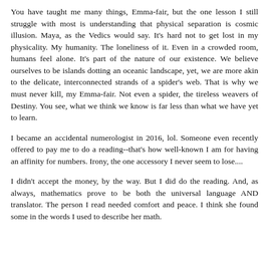You have taught me many things, Emma-fair, but the one lesson I still struggle with most is understanding that physical separation is cosmic illusion. Maya, as the Vedics would say. It's hard not to get lost in my physicality. My humanity. The loneliness of it. Even in a crowded room, humans feel alone. It's part of the nature of our existence. We believe ourselves to be islands dotting an oceanic landscape, yet, we are more akin to the delicate, interconnected strands of a spider's web. That is why we must never kill, my Emma-fair. Not even a spider, the tireless weavers of Destiny. You see, what we think we know is far less than what we have yet to learn.
I became an accidental numerologist in 2016, lol. Someone even recently offered to pay me to do a reading--that's how well-known I am for having an affinity for numbers. Irony, the one accessory I never seem to lose....
I didn't accept the money, by the way. But I did do the reading. And, as always, mathematics prove to be both the universal language AND translator. The person I read needed comfort and peace. I think she found some in the words I used to describe her math.